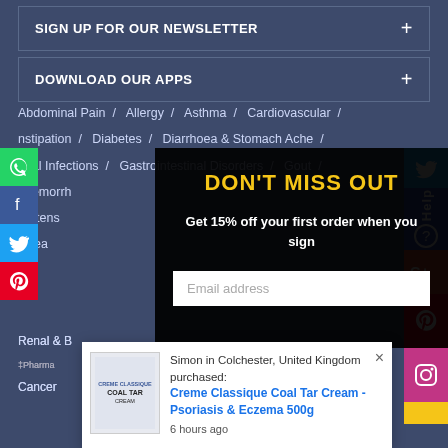SIGN UP FOR OUR NEWSLETTER +
DOWNLOAD OUR APPS +
Abdominal Pain / Allergy / Asthma / Cardiovascular / Constipation / Diabetes / Diarrhoea & Stomach Ache / Fungal Infections / Gastrointestinal Disorders / Gout / Haemorrhoids / Hypertension / Nausea / Renal & Bladder / Cancer
[Figure (infographic): DON'T MISS OUT popup overlay with yellow heading, offer text 'Get 15% off your first order when you sign', and email address input field on dark background]
[Figure (infographic): Social media icons on left side: WhatsApp (green), Facebook (blue), Twitter (blue), Pinterest (red). Social media icons on right side: Twitter, Help, Google+, Pinterest, Instagram, yellow bar.]
Simon in Colchester, United Kingdom purchased: Creme Classique Coal Tar Cream - Psoriasis & Eczema 500g 6 hours ago